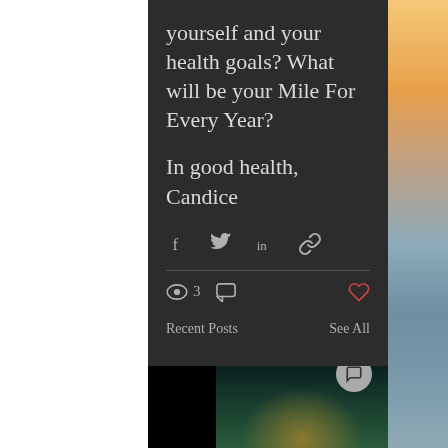yourself and your health goals? What will be your Mile For Every Year?
In good health,
Candice
[Figure (infographic): Social share icons: Facebook (f), Twitter bird, LinkedIn (in), link/chain icon]
[Figure (infographic): Engagement stats: eye icon with 3 views, comment bubble icon, heart icon (red)]
Recent Posts
See All
[Figure (photo): Thumbnail images at bottom of page showing blurred nature/outdoor scene with overlapping circles/rings]
[Figure (photo): Right strip: blurred sky/sunset gradient from warm orange to cool blue-grey]